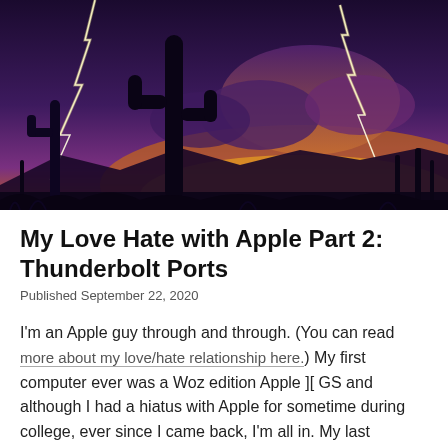[Figure (photo): Desert landscape at sunset with saguaro cactus silhouettes against a dramatic purple and orange sky with lightning strikes]
My Love Hate with Apple Part 2: Thunderbolt Ports
Published September 22, 2020
I'm an Apple guy through and through. (You can read more about my love/hate relationship here.) My first computer ever was a Woz edition Apple ][ GS and although I had a hiatus with Apple for sometime during college, ever since I came back, I'm all in. My last computer, a Macbook Pro (2014 edition I think) was by far the best computer I had